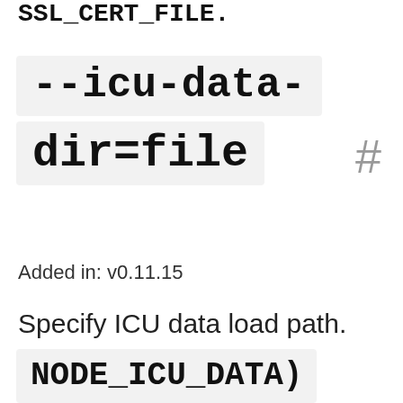SSL_CERT_FILE.
--icu-data-dir=file
Added in: v0.11.15
Specify ICU data load path. (overrides NODE_ICU_DATA)